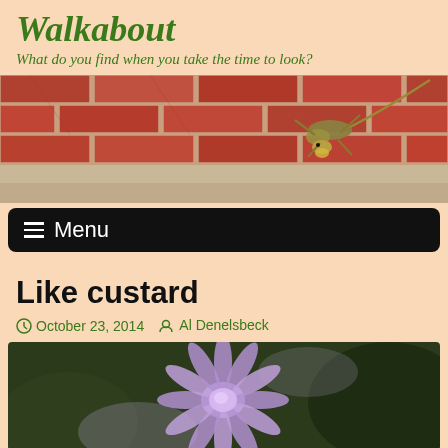Walkabout
What do you find when you take the time to look?
[Figure (photo): A lizard clinging to a red brick wall]
☰ Menu
Like custard
October 23, 2014   Al Denelsbeck
[Figure (photo): Close-up of purple/lavender daisy-like flower with blurred green background]